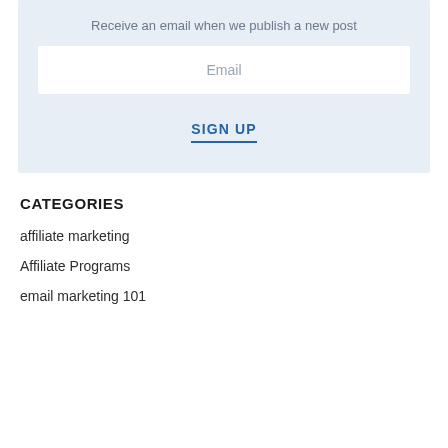Receive an email when we publish a new post
Email
SIGN UP
CATEGORIES
affiliate marketing
Affiliate Programs
email marketing 101